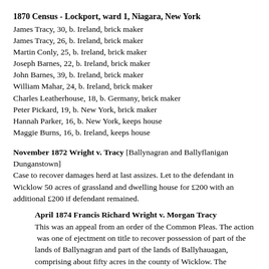1870 Census - Lockport, ward 1, Niagara, New York
James Tracy, 30, b. Ireland, brick maker
James Tracy, 26, b. Ireland, brick maker
Martin Conly, 25, b. Ireland, brick maker
Joseph Barnes, 22, b. Ireland, brick maker
John Barnes, 39, b. Ireland, brick maker
William Mahar, 24, b. Ireland, brick maker
Charles Leatherhouse, 18, b. Germany, brick maker
Peter Pickard, 19, b. New York, brick maker
Hannah Parker, 16, b. New York, keeps house
Maggie Burns, 16, b. Ireland, keeps house
November 1872 Wright v. Tracy [Ballynagran and Ballyflanigan Dunganstown]
Case to recover damages herd at last assizes. Let to the defendant in Wicklow 50 acres of grassland and dwelling house for £200 with an additional £200 if defendant remained.
April 1874 Francis Richard Wright v. Morgan Tracy
This was an appeal from an order of the Common Pleas. The action  was one of ejectment on title to recover possession of part of the lands of Ballynagran and part of the lands of Ballyhauagan, comprising about fifty acres in the county of Wicklow. The defendant held the premises as tenant for one year from 25 March 1871 to 1872, at the rent of £200.